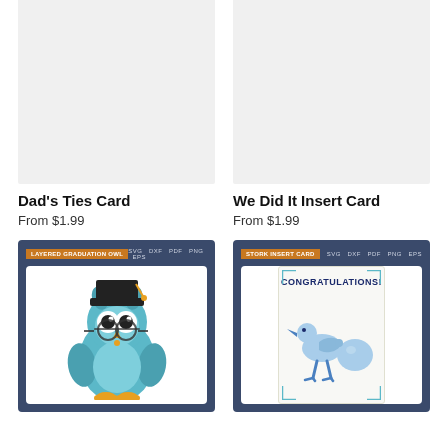[Figure (other): Gray placeholder image for Dad's Ties Card product]
Dad's Ties Card
From $1.99
[Figure (other): Gray placeholder image for We Did It Insert Card product]
We Did It Insert Card
From $1.99
[Figure (illustration): Layered Graduation Owl product preview card with teal owl wearing graduation cap and glasses, labeled LAYERED GRADUATION OWL, formats SVG DXF PDF PNG EPS]
[Figure (illustration): Stork Insert Card product preview card with congratulations text and blue stork carrying baby bundle, labeled STORK INSERT CARD, formats SVG DXF PDF PNG EPS]